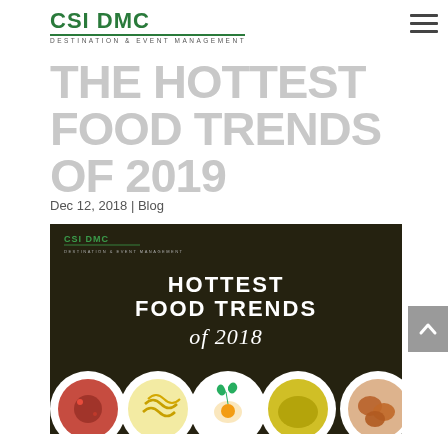CSI DMC DESTINATION & EVENT MANAGEMENT
THE HOTTEST FOOD TRENDS OF 2019
Dec 12, 2018 | Blog
[Figure (photo): Promotional image for 'Hottest Food Trends of 2018' featuring CSI DMC logo at top left, large white text 'HOTTEST FOOD TRENDS of 2018' on dark brown background, with five white plates showing various foods (red curry, noodles, fried egg with herbs, yellow sauce/soup, and fried chicken) along the bottom.]